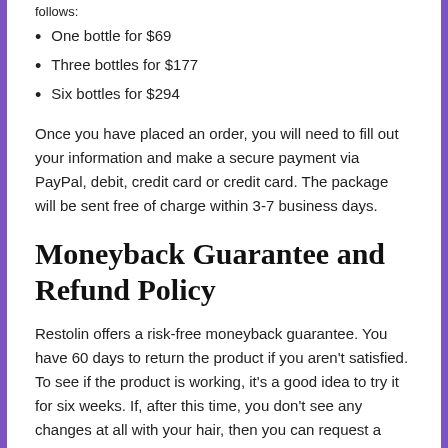follows:
One bottle for $69
Three bottles for $177
Six bottles for $294
Once you have placed an order, you will need to fill out your information and make a secure payment via PayPal, debit, credit card or credit card. The package will be sent free of charge within 3-7 business days.
Moneyback Guarantee and Refund Policy
Restolin offers a risk-free moneyback guarantee. You have 60 days to return the product if you aren't satisfied. To see if the product is working, it's a good idea to try it for six weeks. If, after this time, you don't see any changes at all with your hair, then you can request a refund.